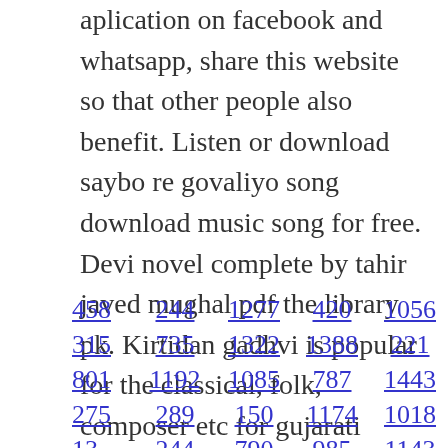aplication on facebook and whatsapp, share this website so that other people also benefit. Listen or download saybo re govaliyo song download music song for free. Devi novel complete by tahir javed mughal pdf the library pk. Kirtidan gadhvi is popular for the classical, folk, composer etc for gujarati songs.
458  244  1277  420  1056  1096
315  735  1322  1388  221  967
801  1192  1085  787  1443  1283
275  289  150  1174  1018  392
13  244  790  985  1143